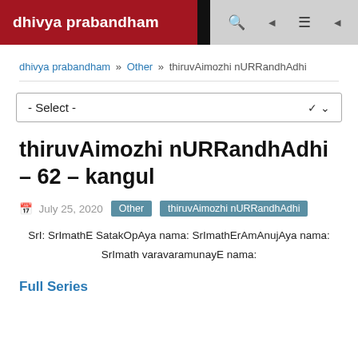dhivya prabandham
dhivya prabandham >> Other >> thiruvAimozhi nURRandhAdhi
- Select -
thiruvAimozhi nURRandhAdhi – 62 – kangul
July 25, 2020   Other   thiruvAimozhi nURRandhAdhi
SrI: SrImathE SatakOpAya nama: SrImathErAmAnujAya nama: SrImath varavaramunayE nama:
Full Series